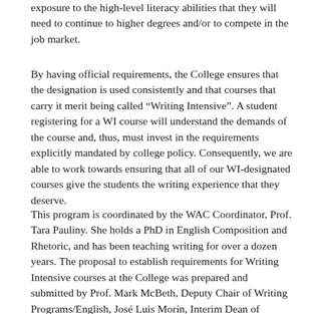exposure to the high-level literacy abilities that they will need to continue to higher degrees and/or to compete in the job market.
By having official requirements, the College ensures that the designation is used consistently and that courses that carry it merit being called “Writing Intensive”. A student registering for a WI course will understand the demands of the course and, thus, must invest in the requirements explicitly mandated by college policy. Consequently, we are able to work towards ensuring that all of our WI-designated courses give the students the writing experience that they deserve.
This program is coordinated by the WAC Coordinator, Prof. Tara Pauliny. She holds a PhD in English Composition and Rhetoric, and has been teaching writing for over a dozen years. The proposal to establish requirements for Writing Intensive courses at the College was prepared and submitted by Prof. Mark McBeth, Deputy Chair of Writing Programs/English, José Luis Morín, Interim Dean of Undergraduate Studies, and Kevin Murtagh, CUNY Writing Fellow, and approved in 2008.